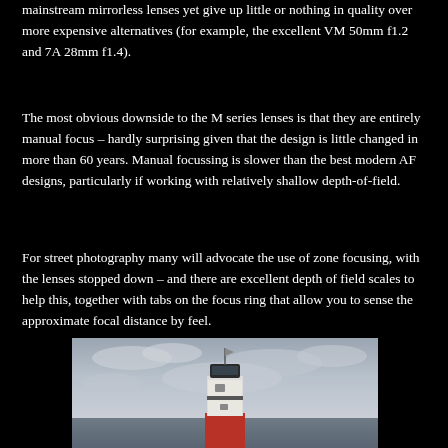mainstream mirrorless lenses yet give up little or nothing in quality over more expensive alternatives (for example, the excellent VM 50mm f1.2 and 7A 28mm f1.4).
The most obvious downside to the M series lenses is that they are entirely manual focus – hardly surprising given that the design is little changed in more than 60 years. Manual focussing is slower than the best modern AF designs, particularly if working with relatively shallow depth-of-field.
For street photography many will advocate the use of zone focusing, with the lenses stopped down – and there are excellent depth of field scales to help this, together with tabs on the focus ring that allow you to sense the approximate focal distance by feel.
[Figure (photo): A red and white lighthouse photographed from below against a cloudy overcast sky. The lighthouse has a dark lantern room at the top with a white cylindrical tower and red base section.]